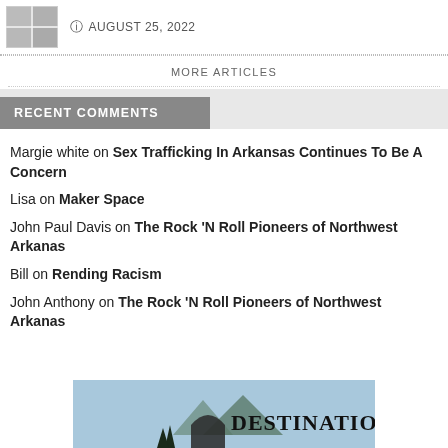[Figure (thumbnail): Small thumbnail image of a newspaper or article page]
AUGUST 25, 2022
MORE ARTICLES
RECENT COMMENTS
Margie white on Sex Trafficking In Arkansas Continues To Be A Concern
Lisa on Maker Space
John Paul Davis on The Rock 'N Roll Pioneers of Northwest Arkanas
Bill on Rending Racism
John Anthony on The Rock 'N Roll Pioneers of Northwest Arkanas
[Figure (logo): Destination logo/advertisement banner with trees silhouette and mountain arch]